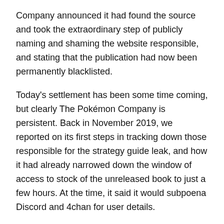Company announced it had found the source and took the extraordinary step of publicly naming and shaming the website responsible, and stating that the publication had now been permanently blacklisted.
Today's settlement has been some time coming, but clearly The Pokémon Company is persistent. Back in November 2019, we reported on its first steps in tracking down those responsible for the strategy guide leak, and how it had already narrowed down the window of access to stock of the unreleased book to just a few hours. At the time, it said it would subpoena Discord and 4chan for user details.
The ruling – which can no longer be appealed – will see both defendants' $150k cover The Pokémon